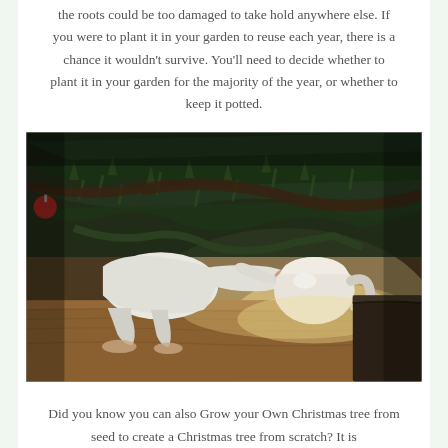the roots could be too damaged to take hold anywhere else. If you were to plant it in your garden to reuse each year, there is a chance it wouldn't survive. You'll need to decide whether to plant it in your garden for the majority of the year, or whether to keep it potted.
[Figure (photo): A person in a white long-sleeve shirt watering a Christmas tree (potted) with a white watering can, crouching under the low branches on a wooden floor, with soft warm lighting.]
Did you know you can also Grow your Own Christmas tree from seed to create a Christmas tree from scratch? It is